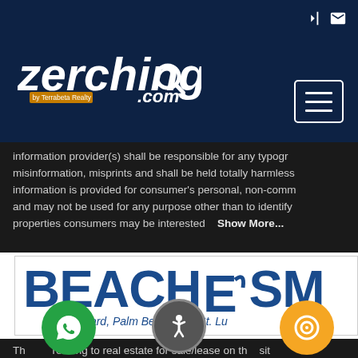[Figure (logo): Zerching.com by Terrabeta Realty logo on dark navy background]
information provider(s) shall be responsible for any typographical misinformation, misprints and shall be held totally harmless. information is provided for consumer's personal, non-commercial and may not be used for any purpose other than to identify properties consumers may be interested   Show More...
[Figure (logo): Beaches MLS logo with text Broward, Palm Beaches & St. Lu...]
The relating to real estate for sale/lease on this sit p a cooperative data exchange program u service (MLS) in which this real estate firm (Broker) participa